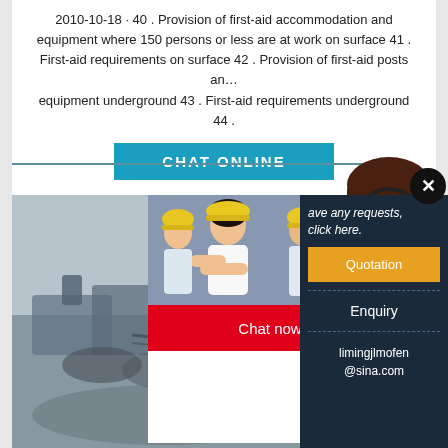2010-10-18 · 40 . Provision of first-aid accommodation and equipment where 150 persons or less are at work on surface 41 . First-aid requirements on surface 42 . Provision of first-aid posts an… equipment underground 43 . First-aid requirements underground 44 .
[Figure (screenshot): Blue 'CHAT ONLINE' button]
[Figure (screenshot): Live chat popup overlay showing workers in hard hats, a woman with headset, 'LIVE CHAT' text in red italic, 'Click for a Free Consultation', 'Chat now' red button, 'Chat later' dark button, and a dark sidebar with Quotation, Enquiry, and email limingjlmofen@sina.com]